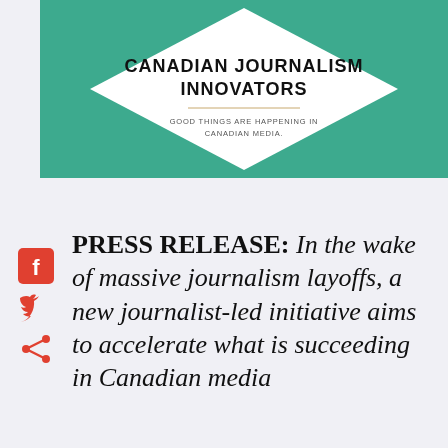[Figure (logo): Canadian Journalism Innovators logo — teal/green diamond shape on teal background with white rotated square/diamond, bold black text 'CANADIAN JOURNALISM INNOVATORS' and smaller text 'GOOD THINGS ARE HAPPENING IN CANADIAN MEDIA.']
PRESS RELEASE: In the wake of massive journalism layoffs, a new journalist-led initiative aims to accelerate what is succeeding in Canadian media